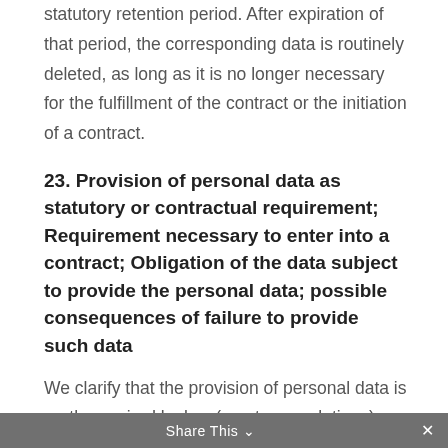statutory retention period. After expiration of that period, the corresponding data is routinely deleted, as long as it is no longer necessary for the fulfillment of the contract or the initiation of a contract.
23. Provision of personal data as statutory or contractual requirement; Requirement necessary to enter into a contract; Obligation of the data subject to provide the personal data; possible consequences of failure to provide such data
We clarify that the provision of personal data is partly required by law (e.g. tax regulations) or can also result from contractual provisions (e.g. information on the contractual partner). Sometimes it may be necessary to conclude a contract that the data subject makes available personal data, which must subsequently be processed by us.
Share This ✕